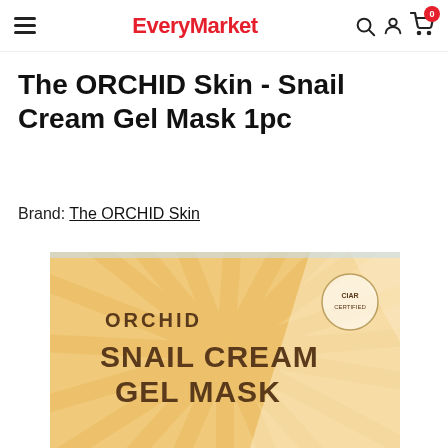EveryMarket
The ORCHID Skin - Snail Cream Gel Mask 1pc
Brand: The ORCHID Skin
[Figure (photo): Product image of The ORCHID Skin Snail Cream Gel Mask packaging — a warm golden/cream colored box with radiating stripe pattern, text reads ORCHID SNAIL CREAM GEL MASK]